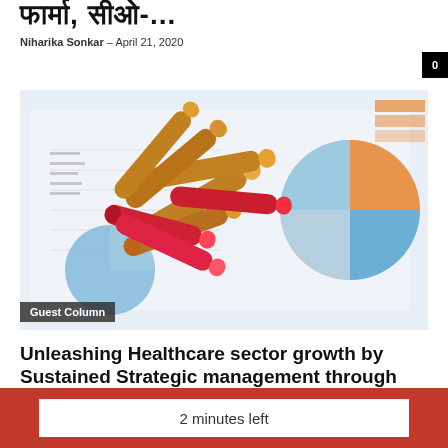फार्मा, सीओ-...
Niharika Sonkar – April 21, 2020
[Figure (photo): Pharmaceutical vials and capsules scattered over market charts and graphs, with pie charts visible in the background. A 'Guest Column' label is overlaid at the bottom left.]
Unleashing Healthcare sector growth by Sustained Strategic management through Smart Secured...
TPT Bureau | Agencies – March 31, 2020
2 minutes left